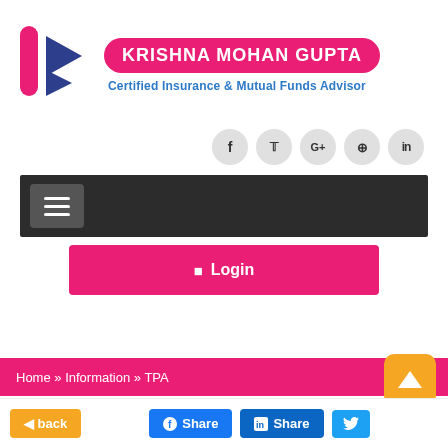[Figure (logo): Krishna Mohan Gupta logo with pink vertical bar and blue arrow shapes, name badge in pink rounded rectangle, subtitle 'Certified Insurance & Mutual Funds Advisor' in blue]
[Figure (infographic): Social media icon buttons: Facebook, Twitter, Google+, Pinterest, LinkedIn in grey circles]
[Figure (screenshot): Dark navigation bar with hamburger menu button]
[Figure (screenshot): Pink Login button with user icon]
Home » Information » TPA
[Figure (infographic): Orange scroll-to-top button with up arrow]
[Figure (infographic): Bottom bar with back button (orange), Facebook Share button (blue), LinkedIn Share button (blue), Twitter share button (light blue)]